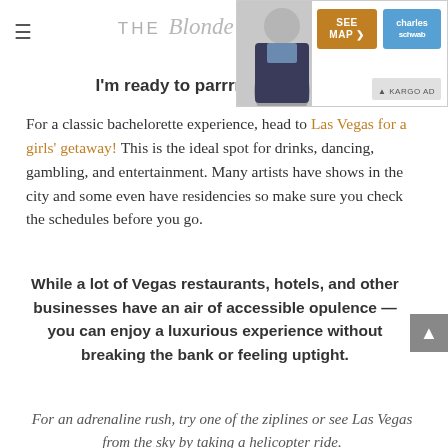THE Blonde ABROAD
[Figure (photo): Advertisement box with Charles Schwab branding showing a person in a suit, with a gold 'SEE MAP' button and blue Charles Schwab logo, and a KARGO AD label]
I'm ready to parrrrr-tayyy!
For a classic bachelorette experience, head to Las Vegas for a girls' getaway! This is the ideal spot for drinks, dancing, gambling, and entertainment. Many artists have shows in the city and some even have residencies so make sure you check the schedules before you go.
While a lot of Vegas restaurants, hotels, and other businesses have an air of accessible opulence — you can enjoy a luxurious experience without breaking the bank or feeling uptight.
For an adrenaline rush, try one of the ziplines or see Las Vegas from the sky by taking a helicopter ride.